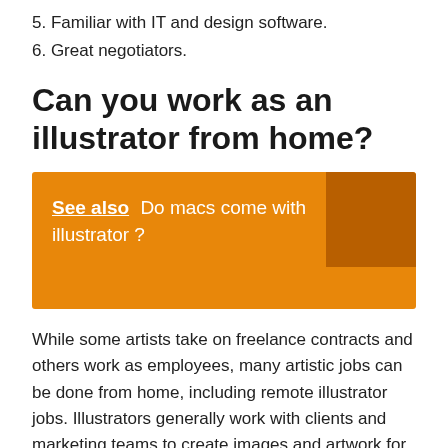5. Familiar with IT and design software.
6. Great negotiators.
Can you work as an illustrator from home?
[Figure (infographic): Orange banner box with 'See also' link text: 'Do macs come with illustrator?' and a darker orange square in the top-right corner.]
While some artists take on freelance contracts and others work as employees, many artistic jobs can be done from home, including remote illustrator jobs. Illustrators generally work with clients and marketing teams to create images and artwork for both print and digital media.